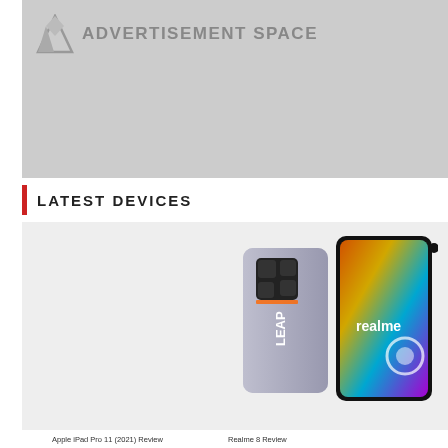[Figure (other): Advertisement space placeholder with logo icon and text 'ADVERTISEMENT SPACE' on grey background]
LATEST DEVICES
[Figure (photo): Realme smartphone shown from back and front, with 'LEAP' text and realme branding, displayed on a light grey background]
Realme 8 Review